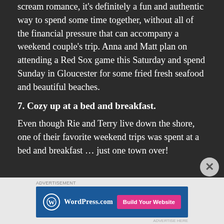scream romance, it's definitely a fun and authentic way to spend some time together, without all of the financial pressure that can accompany a weekend couple's trip. Anna and Matt plan on attending a Red Sox game this Saturday and spend Sunday in Gloucester for some fried fresh seafood and beautiful beaches.
7. Cozy up at a bed and breakfast.
Even though Rie and Terry live down the shore, one of their favorite weekend trips was spent at a bed and breakfast … just one town over!
[Figure (screenshot): WordPress.com advertisement banner with blue background, WordPress logo on the left and 'Build Your Website' pink button on the right]